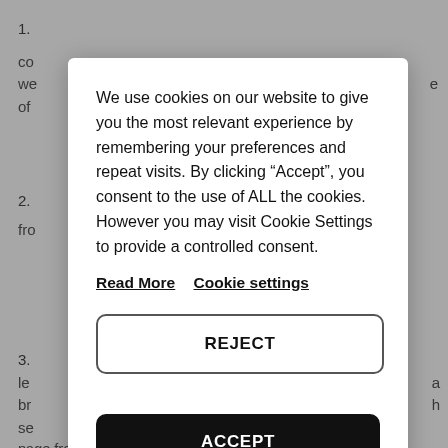1.
co
we
of
2.
fro
3.
le
br
se
page from the server. 8.2 Cookies may be either "persistent" cookies or "session" cookies: a persistent
[Figure (screenshot): Cookie consent modal dialog on a white card overlay with semi-transparent dark background. Contains text explaining cookie usage, 'Read More' and 'Cookie settings' links, a REJECT button with border, and a black ACCEPT button.]
We use cookies on our website to give you the most relevant experience by remembering your preferences and repeat visits. By clicking “Accept”, you consent to the use of ALL the cookies. However you may visit Cookie Settings to provide a controlled consent.
Read More   Cookie settings